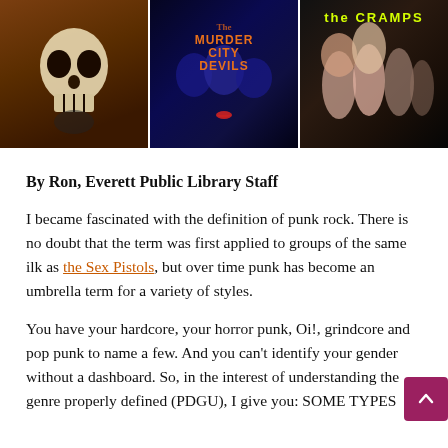[Figure (photo): Three images side by side: left is a skull figurine (Misfits) on brown background, center is Murder City Devils album/poster with blue tones and text 'The Murder City Devils', right is The Cramps band photo with red logo text at top]
By Ron, Everett Public Library Staff
I became fascinated with the definition of punk rock. There is no doubt that the term was first applied to groups of the same ilk as the Sex Pistols, but over time punk has become an umbrella term for a variety of styles.
You have your hardcore, your horror punk, Oi!, grindcore and pop punk to name a few. And you can't identify your gender without a dashboard. So, in the interest of understanding the genre properly defined (PDGU), I give you: SOME TYPES